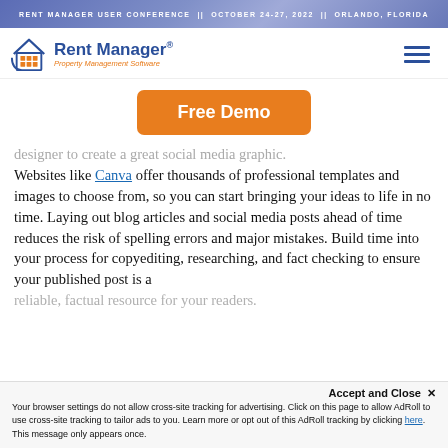RENT MANAGER USER CONFERENCE  ||  OCTOBER 24-27, 2022  ||  ORLANDO, FLORIDA
[Figure (logo): Rent Manager Property Management Software logo with house/grid icon]
[Figure (infographic): Orange Free Demo button]
designer to create a great social media graphic. Websites like Canva offer thousands of professional templates and images to choose from, so you can start bringing your ideas to life in no time. Laying out blog articles and social media posts ahead of time reduces the risk of spelling errors and major mistakes. Build time into your process for copyediting, researching, and fact checking to ensure your published post is a reliable, factual resource for your readers.
Accept and Close ✕ Your browser settings do not allow cross-site tracking for advertising. Click on this page to allow AdRoll to use cross-site tracking to tailor ads to you. Learn more or opt out of this AdRoll tracking by clicking here. This message only appears once.